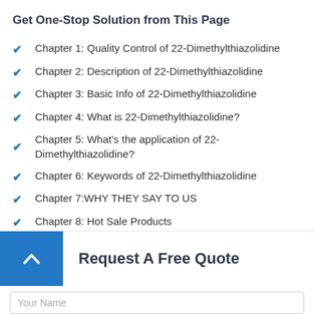Get One-Stop Solution from This Page
Chapter 1: Quality Control of 22-Dimethylthiazolidine
Chapter 2: Description of 22-Dimethylthiazolidine
Chapter 3: Basic Info of 22-Dimethylthiazolidine
Chapter 4: What is 22-Dimethylthiazolidine?
Chapter 5: What’s the application of 22-Dimethylthiazolidine?
Chapter 6: Keywords of 22-Dimethylthiazolidine
Chapter 7:WHY THEY SAY TO US
Chapter 8: Hot Sale Products
Request A Free Quote
Your Name